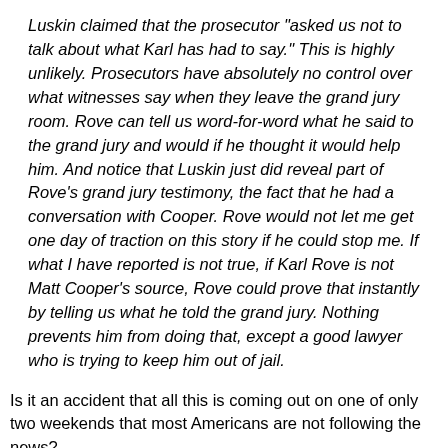Luskin claimed that the prosecutor "asked us not to talk about what Karl has had to say." This is highly unlikely. Prosecutors have absolutely no control over what witnesses say when they leave the grand jury room. Rove can tell us word-for-word what he said to the grand jury and would if he thought it would help him. And notice that Luskin just did reveal part of Rove's grand jury testimony, the fact that he had a conversation with Cooper. Rove would not let me get one day of traction on this story if he could stop me. If what I have reported is not true, if Karl Rove is not Matt Cooper's source, Rove could prove that instantly by telling us what he told the grand jury. Nothing prevents him from doing that, except a good lawyer who is trying to keep him out of jail.
Is it an accident that all this is coming out on one of only two weekends that most Americans are not following the news?